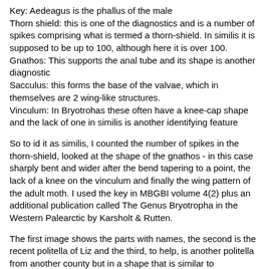Key: Aedeagus is the phallus of the male
Thorn shield: this is one of the diagnostics and is a number of spikes comprising what is termed a thorn-shield. In similis it is supposed to be up to 100, although here it is over 100.
Gnathos: This supports the anal tube and its shape is another diagnostic
Sacculus: this forms the base of the valvae, which in themselves are 2 wing-like structures.
Vinculum: In Bryotrohas these often have a knee-cap shape and the lack of one in similis is another identifying feature
So to id it as similis, I counted the number of spikes in the thorn-shield, looked at the shape of the gnathos - in this case sharply bent and wider after the bend tapering to a point, the lack of a knee on the vinculum and finally the wing pattern of the adult moth. I used the key in MBGBI volume 4(2) plus an additional publication called The Genus Bryotropha in the Western Palearctic by Karsholt & Rutten.
The first image shows the parts with names, the second is the recent politella of Liz and the third, to help, is another politella from another county but in a shape that is similar to